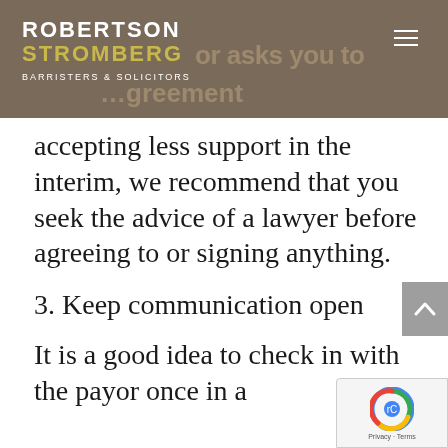ROBERTSON STROMBERG BARRISTERS & SOLICITORS
accepting less support in the interim, we recommend that you seek the advice of a lawyer before agreeing to or signing anything.
3. Keep communication open
It is a good idea to check in with the payor once in a